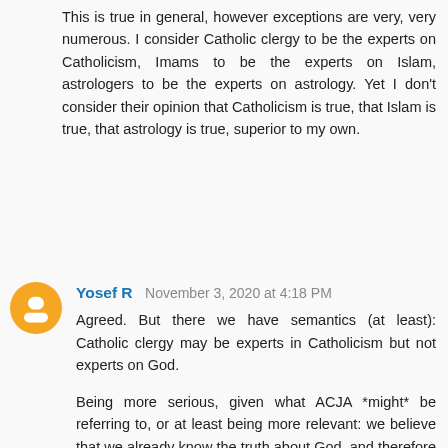This is true in general, however exceptions are very, very numerous. I consider Catholic clergy to be the experts on Catholicism, Imams to be the experts on Islam, astrologers to be the experts on astrology. Yet I don't consider their opinion that Catholicism is true, that Islam is true, that astrology is true, superior to my own.
Yosef R  November 3, 2020 at 4:18 PM
Agreed. But there we have semantics (at least): Catholic clergy may be experts in Catholicism but not experts on God.
Being more serious, given what ACJA *might* be referring to, or at least being more relevant: we believe that we already know the truth about God, and therefore Christian, Muslim, and atheist experts are irrelevant. The problem arises when there is something neutral yet we believe that we know the truth and therefore refuse to listen to